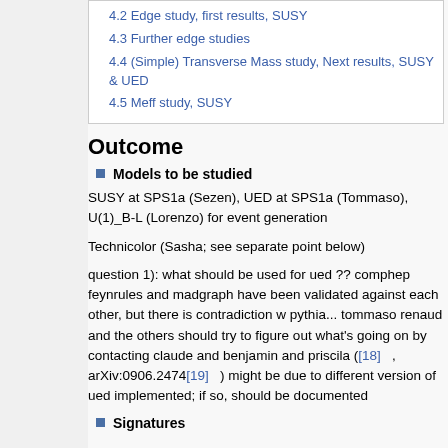4.2 Edge study, first results, SUSY
4.3 Further edge studies
4.4 (Simple) Transverse Mass study, Next results, SUSY & UED
4.5 Meff study, SUSY
Outcome
Models to be studied
SUSY at SPS1a (Sezen), UED at SPS1a (Tommaso), U(1)_B-L (Lorenzo) for event generation
Technicolor (Sasha; see separate point below)
question 1): what should be used for ued ?? comphep feynrules and madgraph have been validated against each other, but there is contradiction w pythia... tommaso renaud and the others should try to figure out what's going on by contacting claude and benjamin and priscila ([18] , arXiv:0906.2474[19] ) might be due to different version of ued implemented; if so, should be documented
Signatures